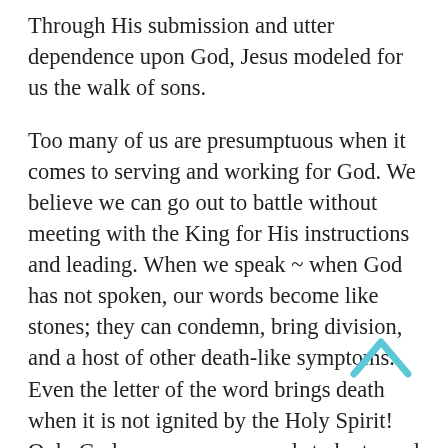Through His submission and utter dependence upon God, Jesus modeled for us the walk of sons.
Too many of us are presumptuous when it comes to serving and working for God. We believe we can go out to battle without meeting with the King for His instructions and leading. When we speak ~ when God has not spoken, our words become like stones; they can condemn, bring division, and a host of other death-like symptoms. Even the letter of the word brings death when it is not ignited by the Holy Spirit!  Only God can cause our words to be turned from stones to bread or the life-giving quality that only His Spirit-directed words possess! If we long to see greater miracles and the greater works that Jesus said we would do, let us enter into the rest of God!